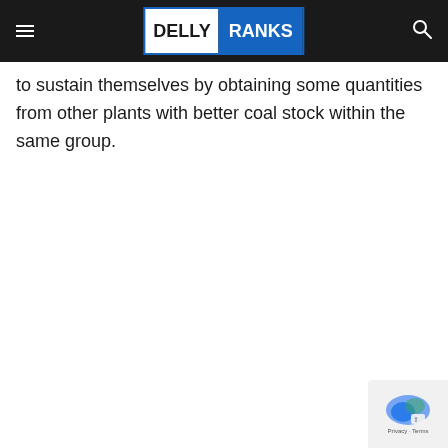DELLY RANKS
to sustain themselves by obtaining some quantities from other plants with better coal stock within the same group.